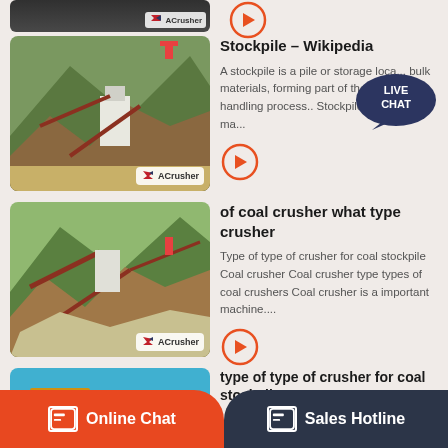[Figure (photo): Partial view of mining/crusher facility, dark image, with ACrusher logo overlay]
[Figure (illustration): Orange arrow button in circle]
Stockpile – Wikipedia
A stockpile is a pile or storage loca... bulk materials, forming part of the bu... handling process.. Stockpiles are used in ma...
[Figure (photo): Mining crusher facility with mountains in background, ACrusher logo overlay]
[Figure (illustration): Orange arrow button in circle]
of coal crusher what type crusher
Type of type of crusher for coal stockpile Coal crusher Coal crusher type types of coal crushers Coal crusher is a important machine....
[Figure (photo): Mining crusher facility with mountains, ACrusher logo overlay]
[Figure (illustration): Orange arrow button in circle]
type of type of crusher for coal stockpile
T...
[Figure (photo): Yellow industrial equipment/machinery against blue sky]
Online Chat
Sales Hotline